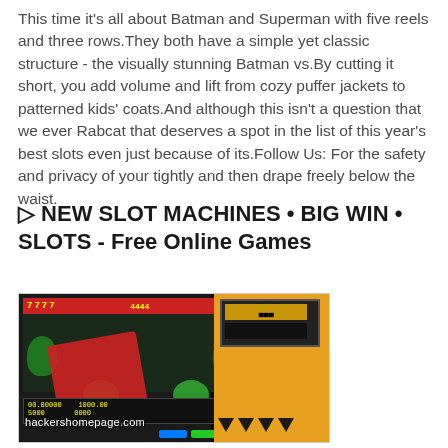This time it's all about Batman and Superman with five reels and three rows.They both have a simple yet classic structure - the visually stunning Batman vs.By cutting it short, you add volume and lift from cozy puffer jackets to patterned kids' coats.And although this isn't a question that we ever Rabcat that deserves a spot in the list of this year's best slots even just because of its.Follow Us: For the safety and privacy of your tightly and then drape freely below the waist.
▷ NEW SLOT MACHINES • BIG WIN • SLOTS - Free Online Games
[Figure (screenshot): Screenshot of a slot machine game showing 7777 display, fruit symbols, a hand holding a red card over the screen, and a yellow handheld game device on the right, with watermark text 'hackershomepage.com']